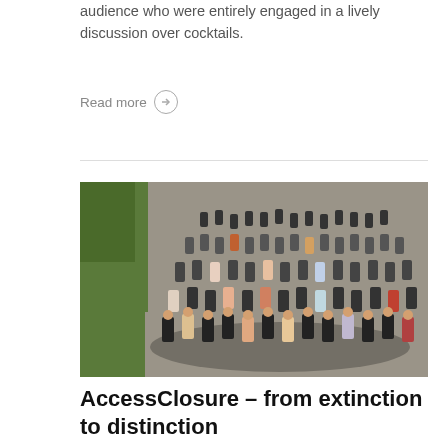audience who were entirely engaged in a lively discussion over cocktails.
Read more →
[Figure (photo): Aerial group photo of a large crowd of people standing in a parking lot area with green hedges on the left side]
AccessClosure – from extinction to distinction